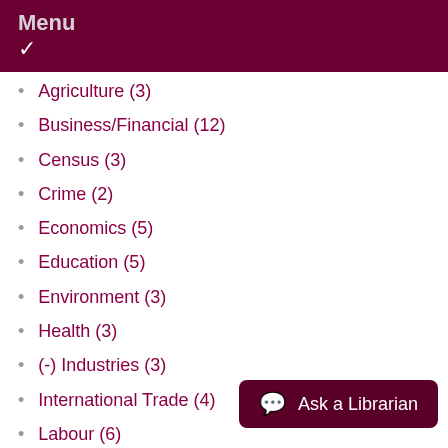Menu
Agriculture (3)
Business/Financial (12)
Census (3)
Crime (2)
Economics (5)
Education (5)
Environment (3)
Health (3)
(-) Industries (3)
International Trade (4)
Labour (6)
Languages (3)
Political Science (5)
(-) Population and Demography (5)
Public Opinion (2)
Science and Technology
Society and Community